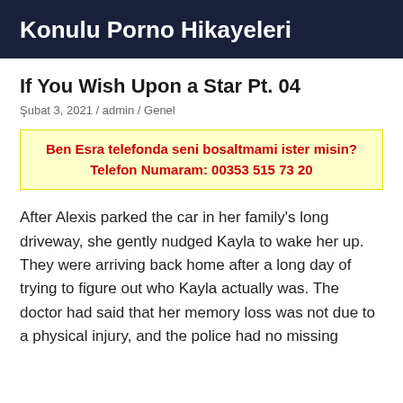Konulu Porno Hikayeleri
If You Wish Upon a Star Pt. 04
Şubat 3, 2021 / admin / Genel
Ben Esra telefonda seni bosaltmami ister misin? Telefon Numaram: 00353 515 73 20
After Alexis parked the car in her family's long driveway, she gently nudged Kayla to wake her up. They were arriving back home after a long day of trying to figure out who Kayla actually was. The doctor had said that her memory loss was not due to a physical injury, and the police had no missing